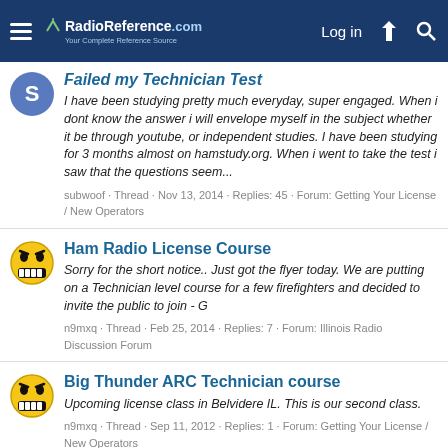RadioReference.com — Log in
Failed my Technician Test
I have been studying pretty much everyday, super engaged. When i dont know the answer i will envelope myself in the subject whether it be through youtube, or independent studies. I have been studying for 3 months almost on hamstudy.org. When i went to take the test i saw that the questions seem...
subwoof · Thread · Nov 13, 2014 · Replies: 45 · Forum: Getting Your License / New Operators
Ham Radio License Course
Sorry for the short notice.. Just got the flyer today. We are putting on a Technician level course for a few firefighters and decided to invite the public to join - G
n9mxq · Thread · Feb 25, 2014 · Replies: 7 · Forum: Illinois Radio Discussion Forum
Big Thunder ARC Technician course
Upcoming license class in Belvidere IL. This is our second class.
n9mxq · Thread · Sep 11, 2012 · Replies: 1 · Forum: Getting Your License / New Operators